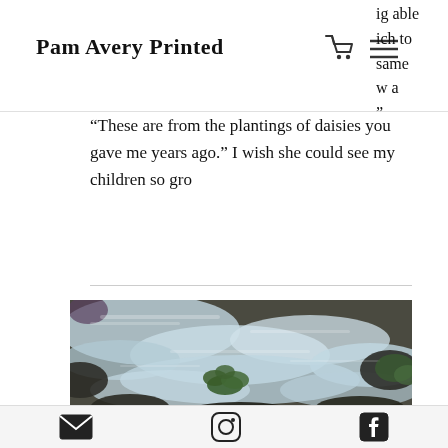Pam Avery Printed
ig able
ich to
same
w a
“”
“These are from the plantings of daisies you gave me years ago.” I wish she could see my children so gro
[Figure (photo): A flowing waterfall or stream with rushing white water over dark rocks, green foliage plant in the foreground, nature photography.]
Email icon, Instagram icon, Facebook icon